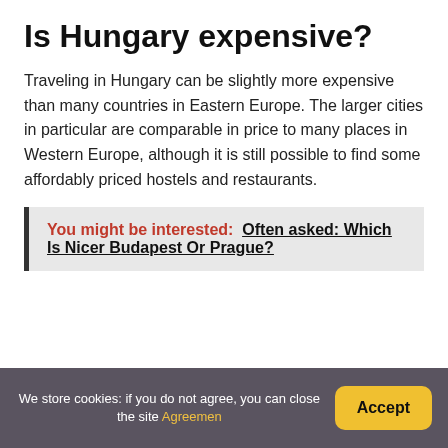Is Hungary expensive?
Traveling in Hungary can be slightly more expensive than many countries in Eastern Europe. The larger cities in particular are comparable in price to many places in Western Europe, although it is still possible to find some affordably priced hostels and restaurants.
You might be interested: Often asked: Which Is Nicer Budapest Or Prague?
We store cookies: if you do not agree, you can close the site Agreement